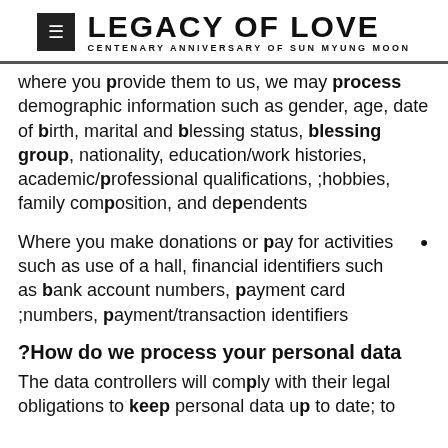LEGACY OF LOVE — CENTENARY ANNIVERSARY OF SUN MYUNG MOON
where you provide them to us, we may process demographic information such as gender, age, date of birth, marital and blessing status, blessing group, nationality, education/work histories, academic/professional qualifications, hobbies, family composition, and dependents
Where you make donations or pay for activities such as use of a hall, financial identifiers such as bank account numbers, payment card numbers, payment/transaction identifiers
How do we process your personal data?
The data controllers will comply with their legal obligations to keep personal data up to date; to